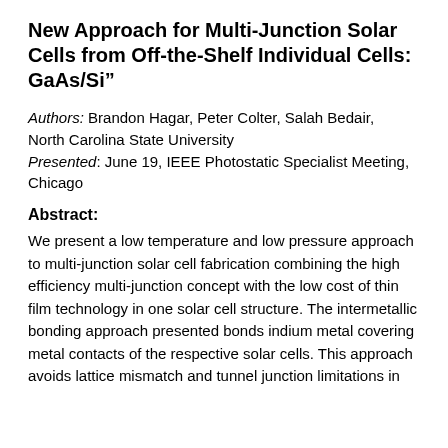New Approach for Multi-Junction Solar Cells from Off-the-Shelf Individual Cells: GaAs/Si”
Authors: Brandon Hagar, Peter Colter, Salah Bedair, North Carolina State University
Presented: June 19, IEEE Photostatic Specialist Meeting, Chicago
Abstract:
We present a low temperature and low pressure approach to multi-junction solar cell fabrication combining the high efficiency multi-junction concept with the low cost of thin film technology in one solar cell structure. The intermetallic bonding approach presented bonds indium metal covering metal contacts of the respective solar cells. This approach avoids lattice mismatch and tunnel junction limitations in